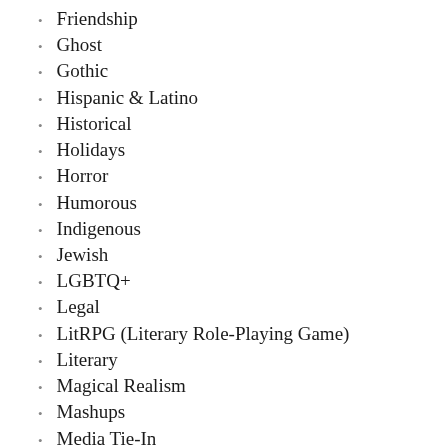Friendship
Ghost
Gothic
Hispanic & Latino
Historical
Holidays
Horror
Humorous
Indigenous
Jewish
LGBTQ+
Legal
LitRPG (Literary Role-Playing Game)
Literary
Magical Realism
Mashups
Media Tie-In
Medical
Multiple Timelines
Muslim
Mystery & Detective
Nature & the Environment